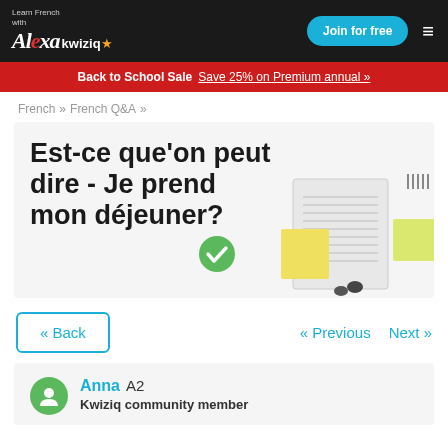Learn French with Alexa kwiziq
Back to School Sale  Save 25% on Premium annual »
French » French Q&A »
Est-ce que'on peut dire - Je prend mon déjeuner?
« Back   « Previous   Next »
Anna  A2
Kwiziq community member